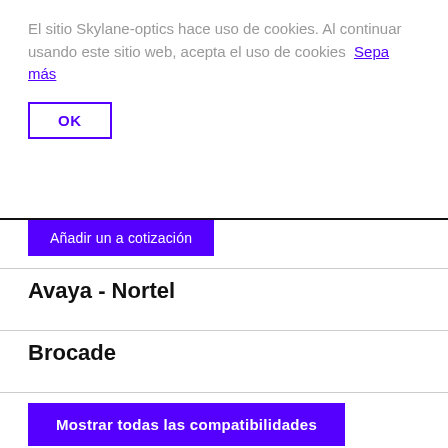El sitio Skylane-optics hace uso de cookies. Al continuar usando este sitio web, acepta el uso de cookies  Sepa más
OK
Añadir un a cotización
Avaya - Nortel
Brocade
Mostrar todas las compatibilidades